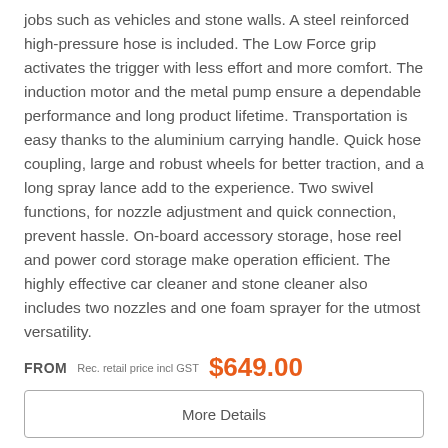jobs such as vehicles and stone walls. A steel reinforced high-pressure hose is included. The Low Force grip activates the trigger with less effort and more comfort. The induction motor and the metal pump ensure a dependable performance and long product lifetime. Transportation is easy thanks to the aluminium carrying handle. Quick hose coupling, large and robust wheels for better traction, and a long spray lance add to the experience. Two swivel functions, for nozzle adjustment and quick connection, prevent hassle. On-board accessory storage, hose reel and power cord storage make operation efficient. The highly effective car cleaner and stone cleaner also includes two nozzles and one foam sprayer for the utmost versatility.
FROM  Rec. retail price incl GST  $649.00
More Details